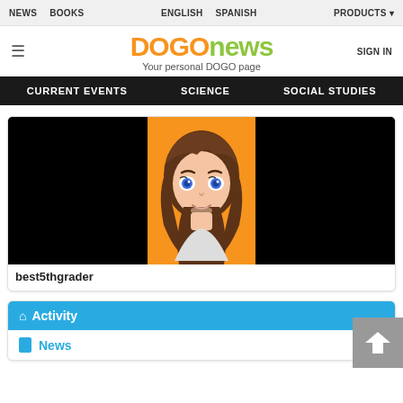NEWS  BOOKS  ENGLISH  SPANISH  PRODUCTS
DOGOnews — Your personal DOGO page
[Figure (illustration): Anime-style girl avatar with brown hair and blue eyes on orange background, flanked by black panels]
best5thgrader
Activity
News